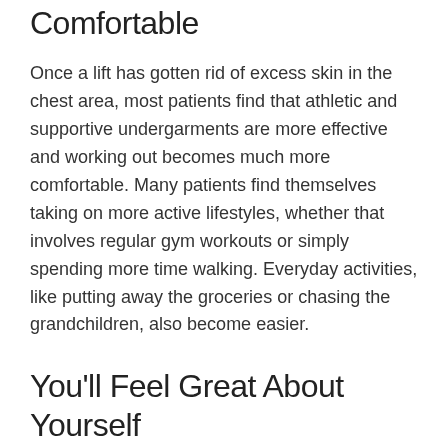Comfortable
Once a lift has gotten rid of excess skin in the chest area, most patients find that athletic and supportive undergarments are more effective and working out becomes much more comfortable. Many patients find themselves taking on more active lifestyles, whether that involves regular gym workouts or simply spending more time walking. Everyday activities, like putting away the groceries or chasing the grandchildren, also become easier.
You'll Feel Great About Yourself
A lift can give you a body you'll feel good about. Most patients say they get a boost in self-confidence after this treatment. Getting dressed in the morning will be fun again as you find